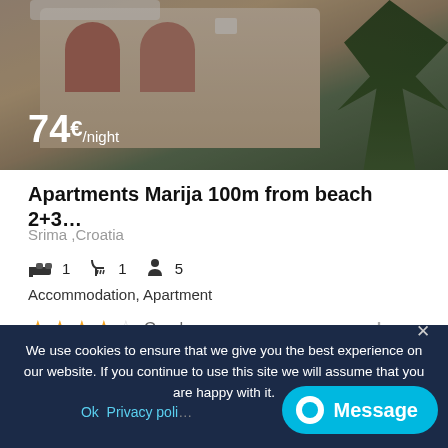[Figure (photo): Photo of apartment building with arched facade and palm trees, overlaid with price badge '74€/night']
Apartments Marija 100m from beach 2+3…
Srima ,Croatia
🛏 1  🚿 1  👥 5
Accommodation, Apartment
★★★★☆ Good
[Figure (photo): Aerial photo of coastal town Srima showing beach, sea, and buildings]
We use cookies to ensure that we give you the best experience on our website. If you continue to use this site we will assume that you are happy with it.
Ok  Privacy poli…
Message